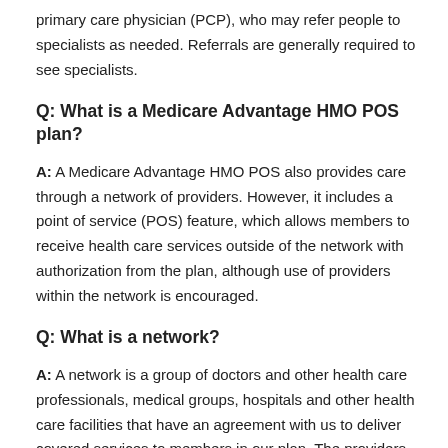primary care physician (PCP), who may refer people to specialists as needed. Referrals are generally required to see specialists.
Q: What is a Medicare Advantage HMO POS plan?
A: A Medicare Advantage HMO POS also provides care through a network of providers. However, it includes a point of service (POS) feature, which allows members to receive health care services outside of the network with authorization from the plan, although use of providers within the network is encouraged.
Q: What is a network?
A: A network is a group of doctors and other health care professionals, medical groups, hospitals and other health care facilities that have an agreement with us to deliver covered services to members in our plan. The providers in our network generally bill us directly for care they give you. When you see a network provider, you